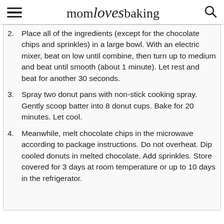mom loves baking
2. Place all of the ingredients (except for the chocolate chips and sprinkles) in a large bowl. With an electric mixer, beat on low until combine, then turn up to medium and beat until smooth (about 1 minute). Let rest and beat for another 30 seconds.
3. Spray two donut pans with non-stick cooking spray. Gently scoop batter into 8 donut cups. Bake for 20 minutes. Let cool.
4. Meanwhile, melt chocolate chips in the microwave according to package instructions. Do not overheat. Dip cooled donuts in melted chocolate. Add sprinkles. Store covered for 3 days at room temperature or up to 10 days in the refrigerator.